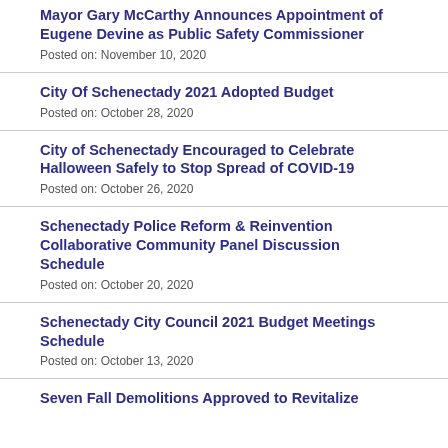Mayor Gary McCarthy Announces Appointment of Eugene Devine as Public Safety Commissioner
Posted on: November 10, 2020
City Of Schenectady 2021 Adopted Budget
Posted on: October 28, 2020
City of Schenectady Encouraged to Celebrate Halloween Safely to Stop Spread of COVID-19
Posted on: October 26, 2020
Schenectady Police Reform & Reinvention Collaborative Community Panel Discussion Schedule
Posted on: October 20, 2020
Schenectady City Council 2021 Budget Meetings Schedule
Posted on: October 13, 2020
Seven Fall Demolitions Approved to Revitalize